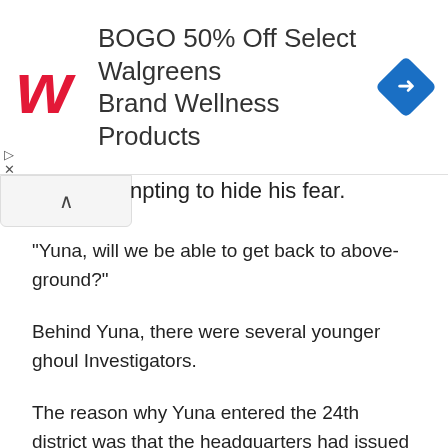[Figure (infographic): Walgreens advertisement banner: red Walgreens logo on left, text 'BOGO 50% Off Select Walgreens Brand Wellness Products' in the center, blue navigation/direction diamond icon on the right.]
npting to hide his fear.
“Yuna, will we be able to get back to above-ground?”
Behind Yuna, there were several younger ghoul Investigators.
The reason why Yuna entered the 24th district was that the headquarters had issued a task, for Yuna to lead some new recruits to experience the outermost layers of the 24th district.
The outer layer of the 24th district was not too dangerous. It was a good place to experience new things. As such,